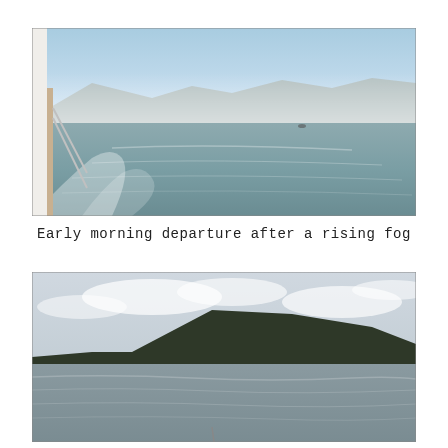[Figure (photo): View from the deck of a boat showing calm misty water with mountains in the background partially covered by rising fog. Blue sky above, boat railing visible on the left side.]
Early morning departure after a rising fog
[Figure (photo): View from a boat over choppy grey water with a large dark forested mountain/hillside in the background under a partly cloudy sky.]